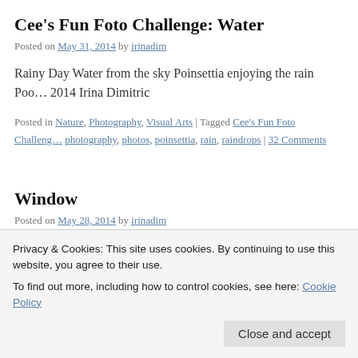Cee's Fun Foto Challenge: Water
Posted on May 31, 2014 by irinadim
Rainy Day Water from the sky Poinsettia enjoying the rain Poo… 2014 Irina Dimitric
Posted in Nature, Photography, Visual Arts | Tagged Cee's Fun Foto Challeng… photography, photos, poinsettia, rain, raindrops | 32 Comments
Window
Posted on May 28, 2014 by irinadim
Window This abstract oil painting I painted many years ago, ent… wrote last year. It's 92 x 70 cm and hangs on the wall facing the…
Privacy & Cookies: This site uses cookies. By continuing to use this website, you agree to their use.
To find out more, including how to control cookies, see here: Cookie Policy